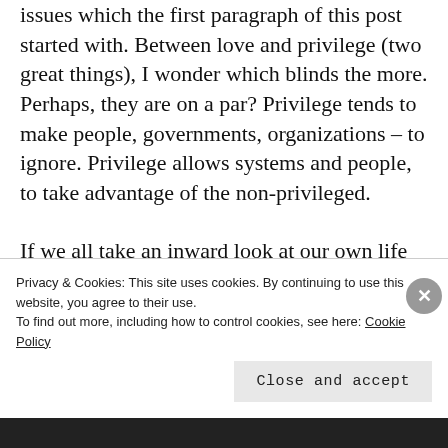issues which the first paragraph of this post started with. Between love and privilege (two great things), I wonder which blinds the more. Perhaps, they are on a par? Privilege tends to make people, governments, organizations – to ignore. Privilege allows systems and people, to take advantage of the non-privileged.
If we all take an inward look at our own life and challenge ourselves to be on our definition to...
Privacy & Cookies: This site uses cookies. By continuing to use this website, you agree to their use.
To find out more, including how to control cookies, see here: Cookie Policy
Close and accept